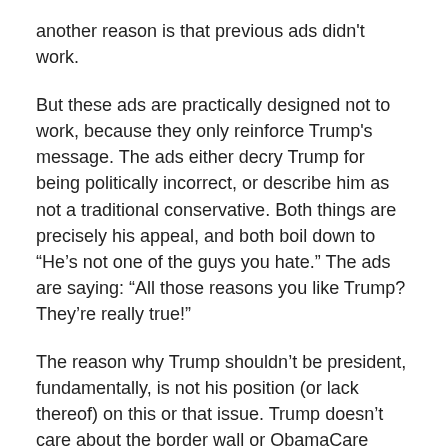another reason is that previous ads didn't work.
But these ads are practically designed not to work, because they only reinforce Trump's message. The ads either decry Trump for being politically incorrect, or describe him as not a traditional conservative. Both things are precisely his appeal, and both boil down to “He’s not one of the guys you hate.” The ads are saying: “All those reasons you like Trump? They’re really true!”
The reason why Trump shouldn’t be president, fundamentally, is not his position (or lack thereof) on this or that issue. Trump doesn’t care about the border wall or ObamaCare (whatever his position on it is this week). The reason Trump shouldn’t be president is because he’s probably a sociopath.